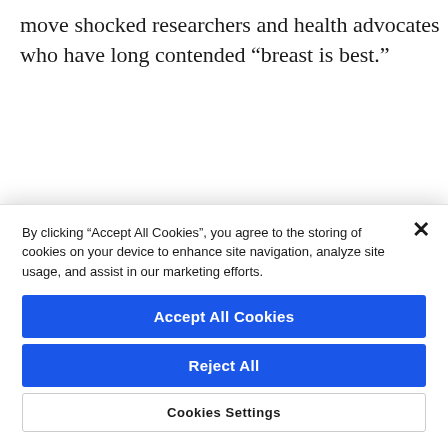move shocked researchers and health advocates who have long contended “breast is best.”
ADVERTISEMENT
[Figure (infographic): Microsoft advertisement banner showing Microsoft logo on left with text 'Empowering' and a photo of a person with flowing hair on the right, warm orange/amber tones]
[Figure (screenshot): Cookie consent dialog overlay with close X button, cookie policy text, Accept All Cookies button, Reject All button, and Cookies Settings button]